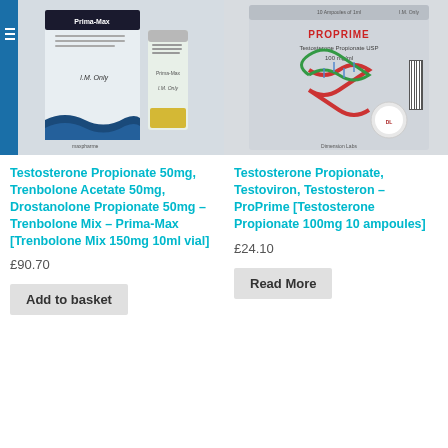[Figure (photo): Product photo of Prima-Max vials (Trenbolone Mix) showing box and two vials on light background with blue left accent bar]
[Figure (photo): Product photo of PROPRIME box (Testosterone Propionate USP 100mg/ml) showing box with DNA helix graphic on grey background]
Testosterone Propionate 50mg, Trenbolone Acetate 50mg, Drostanolone Propionate 50mg – Trenbolone Mix – Prima-Max [Trenbolone Mix 150mg 10ml vial]
£90.70
Add to basket
Testosterone Propionate, Testoviron, Testosteron – ProPrime [Testosterone Propionate 100mg 10 ampoules]
£24.10
Read More